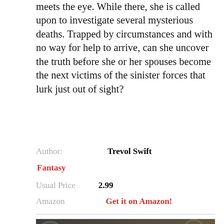meets the eye. While there, she is called upon to investigate several mysterious deaths. Trapped by circumstances and with no way for help to arrive, can she uncover the truth before she or her spouses become the next victims of the sinister forces that lurk just out of sight?
Author: Trevol Swift
Fantasy
Usual Price  2.99
Amazon  Get it on Amazon!
[Figure (illustration): Book banner image with dark steampunk gear background and glowing golden element, displaying author name EFFROSYNI MOSCHOUDI in large bold white text]